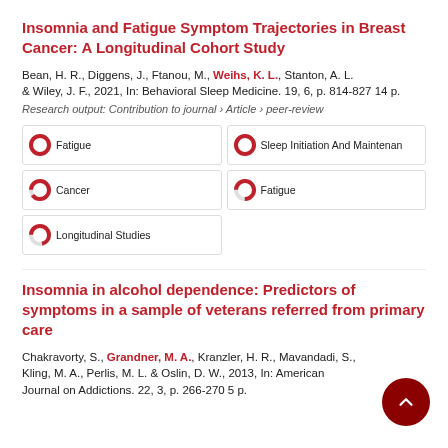Insomnia and Fatigue Symptom Trajectories in Breast Cancer: A Longitudinal Cohort Study
Bean, H. R., Diggens, J., Ftanou, M., Weihs, K. L., Stanton, A. L. & Wiley, J. F., 2021, In: Behavioral Sleep Medicine. 19, 6, p. 814-827 14 p.
Research output: Contribution to journal › Article › peer-review
Fatigue (100%)
Sleep Initiation And Maintenance (100%)
Cancer (90%)
Fatigue (75%)
Longitudinal Studies (71%)
Insomnia in alcohol dependence: Predictors of symptoms in a sample of veterans referred from primary care
Chakravorty, S., Grandner, M. A., Kranzler, H. R., Mavandadi, S., Kling, M. A., Perlis, M. L. & Oslin, D. W., 2013, In: American Journal on Addictions. 22, 3, p. 266-270 5 p.